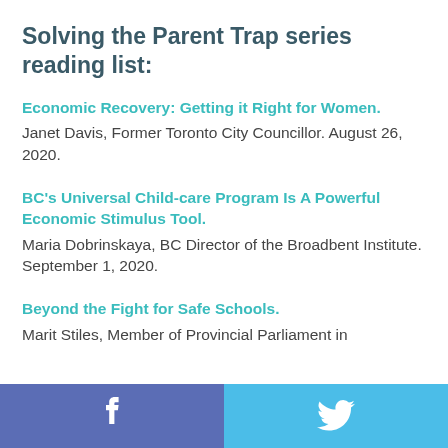Solving the Parent Trap series reading list:
Economic Recovery: Getting it Right for Women. Janet Davis, Former Toronto City Councillor. August 26, 2020.
BC's Universal Child-care Program Is A Powerful Economic Stimulus Tool. Maria Dobrinskaya, BC Director of the Broadbent Institute. September 1, 2020.
Beyond the Fight for Safe Schools. Marit Stiles, Member of Provincial Parliament in